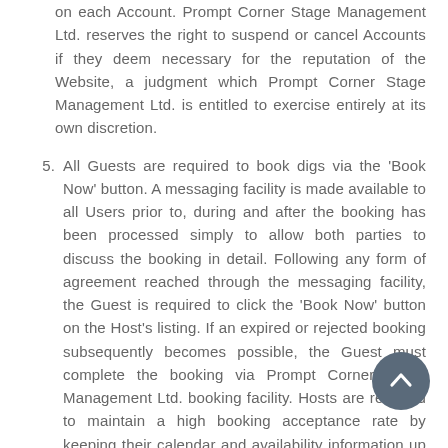on each Account. Prompt Corner Stage Management Ltd. reserves the right to suspend or cancel Accounts if they deem necessary for the reputation of the Website, a judgment which Prompt Corner Stage Management Ltd. is entitled to exercise entirely at its own discretion.
5. All Guests are required to book digs via the 'Book Now' button. A messaging facility is made available to all Users prior to, during and after the booking has been processed simply to allow both parties to discuss the booking in detail. Following any form of agreement reached through the messaging facility, the Guest is required to click the 'Book Now' button on the Host's listing. If an expired or rejected booking subsequently becomes possible, the Guest must complete the booking via Prompt Corner Stage Management Ltd. booking facility. Hosts are required to maintain a high booking acceptance rate by keeping their calendar and availability information up to date.
2. Intellectual Property and Acceptable Use Subject to the